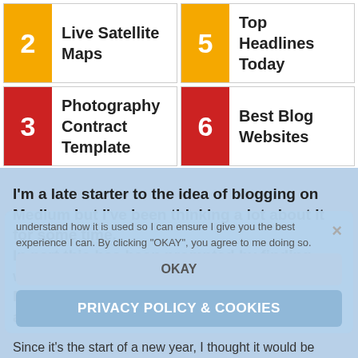2 Live Satellite Maps
5 Top Headlines Today
3 Photography Contract Template
6 Best Blog Websites
I'm a late starter to the idea of blogging on Medium but I've been thinking a lot about it for some time. In part this has been prompted by finding writers, whose posts (called “Stories” on Medium) I've enjoyed reading recently, such as Zulie Rane and Tom Kuegler.
understand how it is used so I can ensure I give you the best experience I can. By clicking "OKAY", you agree to me doing so.
OKAY
PRIVACY POLICY & COOKIES
Since it's the start of a new year, I thought it would be